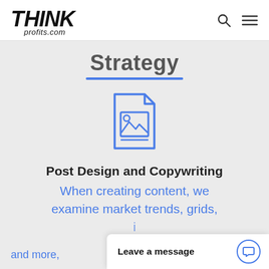THINKprofits.com
Strategy
[Figure (illustration): Blue outline icon of a document/image file with a folded corner and a picture/photo icon inside]
Post Design and Copywriting
When creating content, we examine market trends, grids, and more,
Leave a message